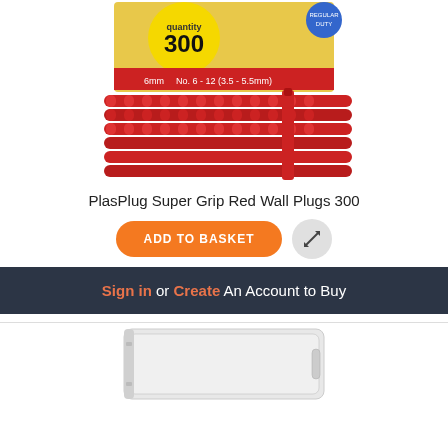[Figure (photo): Box of PlasPlug Super Grip Red Wall Plugs quantity 300, showing red plastic wall plugs stacked in rows, with product label indicating No. 6-12 (3.5-5.5mm) and 6mm size]
PlasPlug Super Grip Red Wall Plugs 300
ADD TO BASKET
Sign in or Create An Account to Buy
[Figure (photo): White mini refrigerator/fridge, compact size, shown from a slight angle]